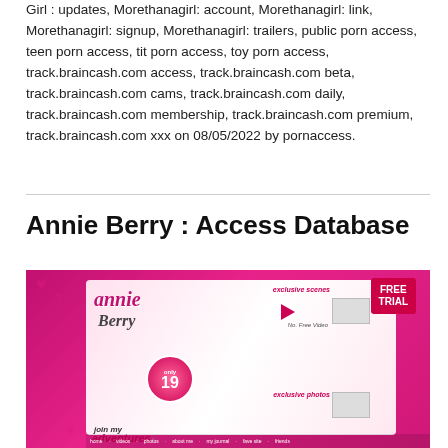Girl : updates, Morethanagirl: account, Morethanagirl: link, Morethanagirl: signup, Morethanagirl: trailers, public porn access, teen porn access, tit porn access, toy porn access, track.braincash.com access, track.braincash.com beta, track.braincash.com cams, track.braincash.com daily, track.braincash.com membership, track.braincash.com premium, track.braincash.com xxx on 08/05/2022 by pornaccess.
Annie Berry : Access Database
[Figure (photo): Annie Berry website banner with pink background, logo, 'only 19' badge, 'join my adventures' text, 'exclusive scenes', 'free trial' badge, and navigation bar]